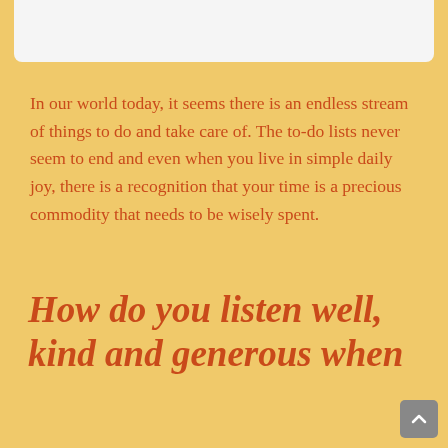[Figure (photo): Top portion of a white image/photo area visible at the top of the page, partially cropped]
In our world today, it seems there is an endless stream of things to do and take care of.  The to-do lists never seem to end and even when you live in simple daily joy, there is a recognition that your time is a precious commodity that needs to be wisely spent.
How do you listen well, kind and generous when